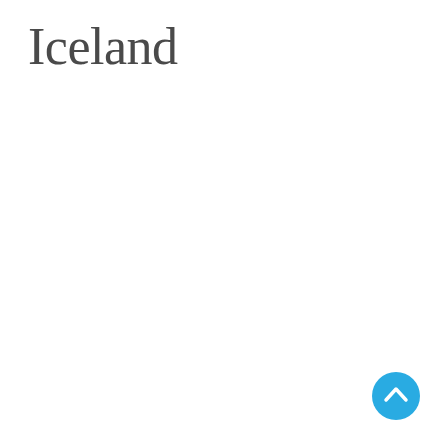Iceland
[Figure (other): Blue circular back-to-top button with upward chevron arrow in white, positioned in bottom-right corner]